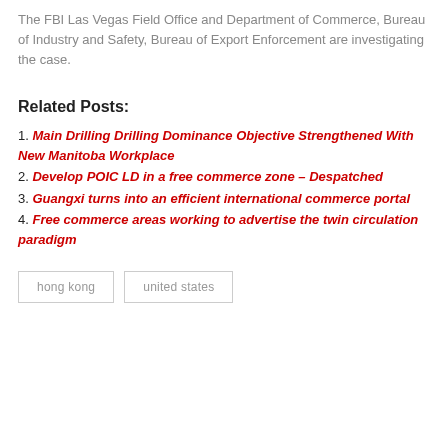The FBI Las Vegas Field Office and Department of Commerce, Bureau of Industry and Safety, Bureau of Export Enforcement are investigating the case.
Related Posts:
1. Main Drilling Drilling Dominance Objective Strengthened With New Manitoba Workplace
2. Develop POIC LD in a free commerce zone – Despatched
3. Guangxi turns into an efficient international commerce portal
4. Free commerce areas working to advertise the twin circulation paradigm
hong kong   united states